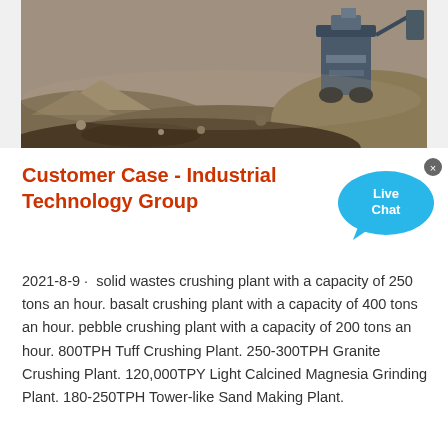[Figure (photo): Aerial/ground-level view of a stone crushing plant or quarry site with heavy machinery, earth mounds, and rocky terrain.]
Customer Case - Industrial Technology Group
2021-8-9 · solid wastes crushing plant with a capacity of 250 tons an hour. basalt crushing plant with a capacity of 400 tons an hour. pebble crushing plant with a capacity of 200 tons an hour. 800TPH Tuff Crushing Plant. 250-300TPH Granite Crushing Plant. 120,000TPY Light Calcined Magnesia Grinding Plant. 180-250TPH Tower-like Sand Making Plant.